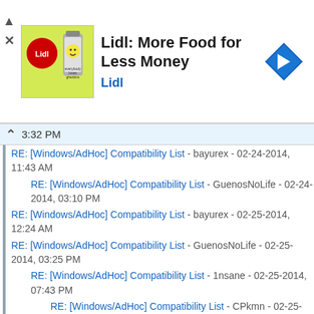[Figure (screenshot): Advertisement banner for 'Lidl: More Food for Less Money' with Lidl logo thumbnail and navigation icon]
3:32 PM
RE: [Windows/AdHoc] Compatibility List - bayurex - 02-24-2014, 11:43 AM
RE: [Windows/AdHoc] Compatibility List - GuenosNoLife - 02-24-2014, 03:10 PM
RE: [Windows/AdHoc] Compatibility List - bayurex - 02-25-2014, 12:24 AM
RE: [Windows/AdHoc] Compatibility List - GuenosNoLife - 02-25-2014, 03:25 PM
RE: [Windows/AdHoc] Compatibility List - 1nsane - 02-25-2014, 07:43 PM
RE: [Windows/AdHoc] Compatibility List - CPkmn - 02-25-2014, 09:58 PM
RE: [Windows/AdHoc] Compatibility List - Kyouki Satori - 03-12-2014, 04:19 AM
RE: [Windows/AdHoc] Compatibility List - 1nsane - 03-17-2014, 11:58 PM
RE: [Windows/AdHoc] Compatibility List - gh0stx - 03-22-2014, 04:40 PM